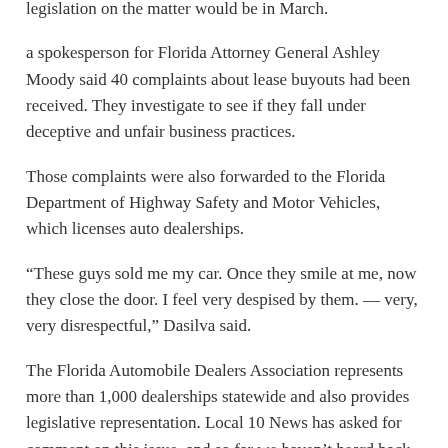legislation on the matter would be in March.
a spokesperson for Florida Attorney General Ashley Moody said 40 complaints about lease buyouts had been received. They investigate to see if they fall under deceptive and unfair business practices.
Those complaints were also forwarded to the Florida Department of Highway Safety and Motor Vehicles, which licenses auto dealerships.
“These guys sold me my car. Once they smile at me, now they close the door. I feel very despised by them. — very, very disrespectful,” Dasilva said.
The Florida Automobile Dealers Association represents more than 1,000 dealerships statewide and also provides legislative representation. Local 10 News has asked for comment on this issue, and so far we haven’t heard back.